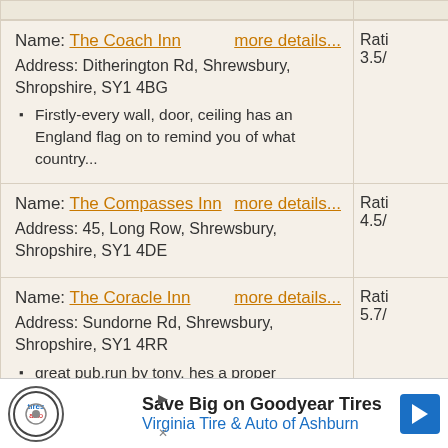| Name / Address / Reviews | Rating |
| --- | --- |
| Name: The Coach Inn | more details...
Address: Ditherington Rd, Shrewsbury, Shropshire, SY1 4BG
• Firstly-every wall, door, ceiling has an England flag on to remind you of what country... | Rati...
3.5/ |
| Name: The Compasses Inn | more details...
Address: 45, Long Row, Shrewsbury, Shropshire, SY1 4DE | Rati...
4.5/ |
| Name: The Coracle Inn | more details...
Address: Sundorne Rd, Shrewsbury, Shropshire, SY1 4RR
• great pub,run by tony, hes a proper landlord,good beer,good food,at good prices. good...
• my husband and i held our wedding reception at | Rati...
5.7/ |
[Figure (infographic): Advertisement banner: Save Big on Goodyear Tires - Virginia Tire & Auto of Ashburn, with logo and blue arrow button]